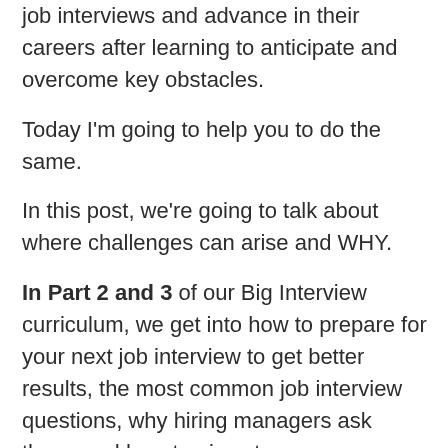job interviews and advance in their careers after learning to anticipate and overcome key obstacles.
Today I'm going to help you to do the same.
In this post, we're going to talk about where challenges can arise and WHY.
In Part 2 and 3 of our Big Interview curriculum, we get into how to prepare for your next job interview to get better results, the most common job interview questions, why hiring managers ask them, and how to give strong answers.
(Learn more about how to get access to our full